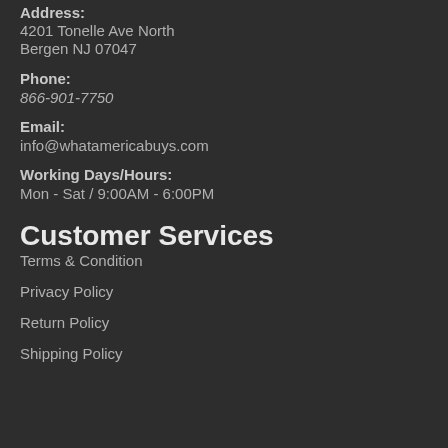Address: 4201 Tonelle Ave North Bergen NJ 07047
Phone: 866-901-7750
Email: info@whatamericabuys.com
Working Days/Hours: Mon - Sat / 9:00AM - 6:00PM
Customer Services
Terms & Condition
Privacy Policy
Return Policy
Shipping Policy